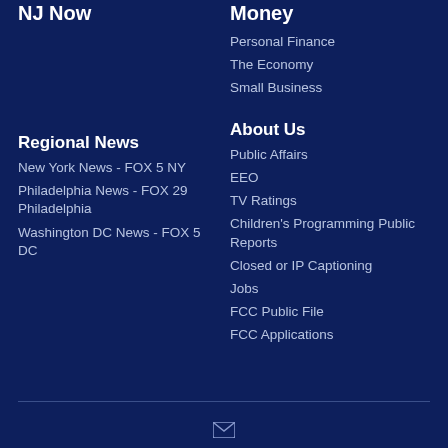NJ Now
Money
Personal Finance
The Economy
Small Business
Regional News
About Us
New York News - FOX 5 NY
Public Affairs
Philadelphia News - FOX 29 Philadelphia
EEO
Washington DC News - FOX 5 DC
TV Ratings
Children's Programming Public Reports
Closed or IP Captioning
Jobs
FCC Public File
FCC Applications